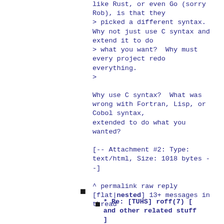like Rust, or even Go (sorry Rob), is that they
> picked a different syntax. Why not just use C syntax and extend it to do
> what you want?  Why must every project redo everything.
>
Why use C syntax?  What was wrong with Fortran, Lisp, or Cobol syntax,
extended to do what you wanted?
[-- Attachment #2: Type: text/html, Size: 1018 bytes --]
^ permalink raw reply [flat|nested] 13+ messages in thread
* Re: [TUHS] roff(7) [and other related stuff]
2022-01-02  1:04
John Cowan